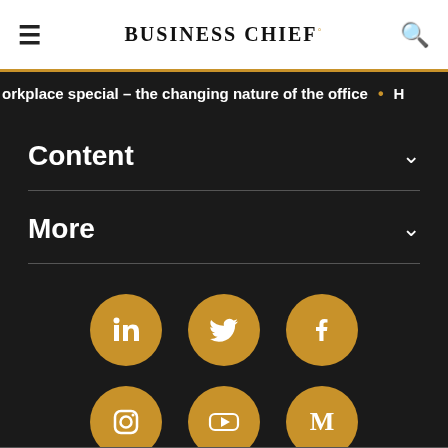BUSINESS CHIEF
orkplace special – the changing nature of the office • H
Content
More
[Figure (infographic): Six social media icons in gold circles arranged in two rows of three: LinkedIn, Twitter, Facebook (top row); Instagram, YouTube, Medium (bottom row)]